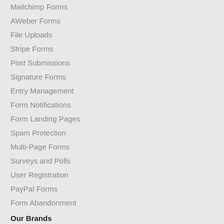Mailchimp Forms
AWeber Forms
File Uploads
Stripe Forms
Post Submissions
Signature Forms
Entry Management
Form Notifications
Form Landing Pages
Spam Protection
Multi-Page Forms
Surveys and Polls
User Registration
PayPal Forms
Form Abandonment
Our Brands